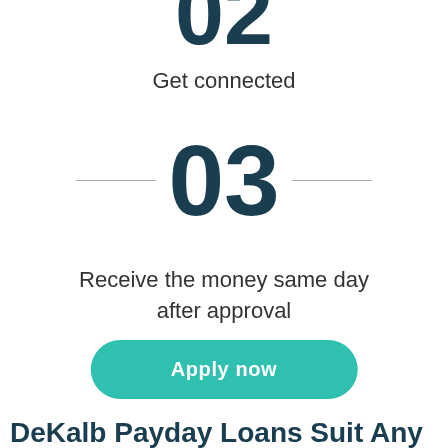02
Get connected
03
Receive the money same day after approval
Apply now
DeKalb Payday Loans Suit Any